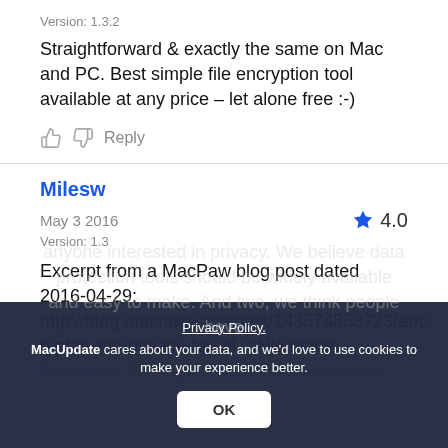Version: 1.3.2
Straightforward & exactly the same on Mac and PC. Best simple file encryption tool available at any price – let alone free :-)
Reply
Milesw
May 3 2016
4.0
Version: 1.3
Excerpt from a MacPaw blog post dated 2016-04-29: http://blog.macpaw.com/post/143574853723/encryptor-and-privacy-for-all "[W]e made Encryptor, the engine we built to power our anyone interested tools be widely available and easy to make. And two, we think people have data protection
Privacy Policy. MacUpdate cares about your data, and we'd love to use cookies to make your experience better.
OK